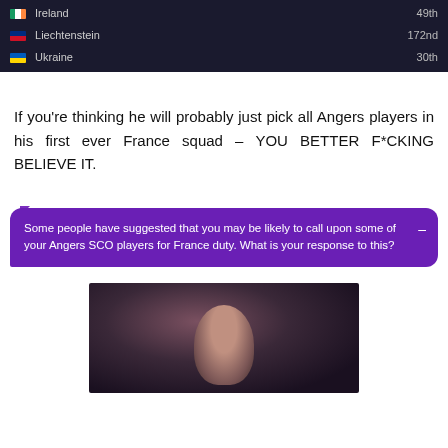| Country | Rank |
| --- | --- |
| Ireland | 49th |
| Liechtenstein | 172nd |
| Ukraine | 30th |
If you're thinking he will probably just pick all Angers players in his first ever France squad – YOU BETTER F*CKING BELIEVE IT.
Some people have suggested that you may be likely to call upon some of your Angers SCO players for France duty. What is your response to this?
[Figure (photo): Dark photo of a person with blurred background]